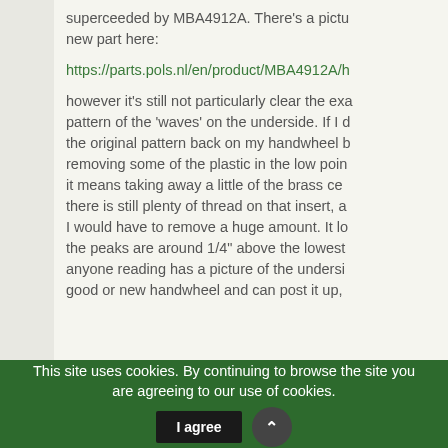superceeded by MBA4912A. There's a picture of the new part here:
https://parts.pols.nl/en/product/MBA4912A/h
however it's still not particularly clear the exact pattern of the 'waves' on the underside. If I do get the original pattern back on my handwheel by removing some of the plastic in the low points, it means taking away a little of the brass centre. there is still plenty of thread on that insert, and I would have to remove a huge amount. It looks like the peaks are around 1/4" above the lowest points. If anyone reading has a picture of the underside of a good or new handwheel and can post it up,
This site uses cookies. By continuing to browse the site you are agreeing to our use of cookies.